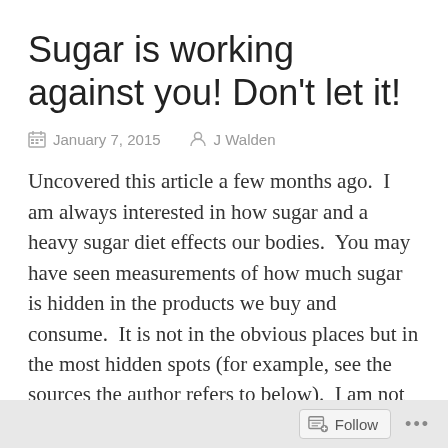Sugar is working against you! Don’t let it!
January 7, 2015   J Walden
Uncovered this article a few months ago.  I am always interested in how sugar and a heavy sugar diet effects our bodies.  You may have seen measurements of how much sugar is hidden in the products we buy and consume.  It is not in the obvious places but in the most hidden spots (for example, see the sources the author refers to below).  I am not even referring to only “white sugar” but the nutrients your body treats as sugar that can